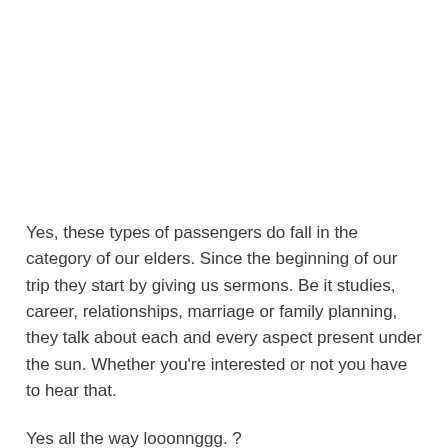Yes, these types of passengers do fall in the category of our elders. Since the beginning of our trip they start by giving us sermons. Be it studies, career, relationships, marriage or family planning, they talk about each and every aspect present under the sun. Whether you're interested or not you have to hear that.
Yes all the way looonnggg. ?